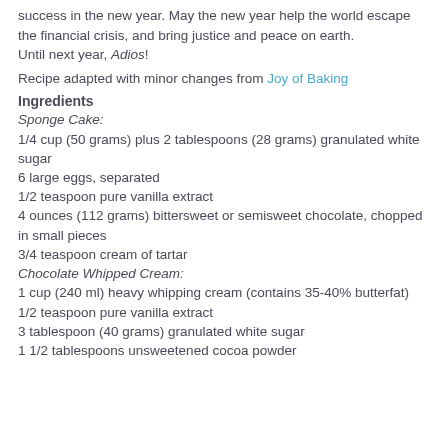success in the new year. May the new year help the world escape the financial crisis, and bring justice and peace on earth.
Until next year, Adios!
Recipe adapted with minor changes from Joy of Baking
Ingredients
Sponge Cake:
1/4 cup (50 grams) plus 2 tablespoons (28 grams) granulated white sugar
6 large eggs, separated
1/2 teaspoon pure vanilla extract
4 ounces (112 grams) bittersweet or semisweet chocolate, chopped in small pieces
3/4 teaspoon cream of tartar
Chocolate Whipped Cream:
1 cup (240 ml) heavy whipping cream (contains 35-40% butterfat)
1/2 teaspoon pure vanilla extract
3 tablespoon (40 grams) granulated white sugar
1 1/2 tablespoons unsweetened cocoa powder